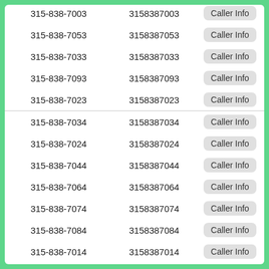| 315-838-7003 | 3158387003 | Caller Info |
| 315-838-7053 | 3158387053 | Caller Info |
| 315-838-7033 | 3158387033 | Caller Info |
| 315-838-7093 | 3158387093 | Caller Info |
| 315-838-7023 | 3158387023 | Caller Info |
| 315-838-7034 | 3158387034 | Caller Info |
| 315-838-7024 | 3158387024 | Caller Info |
| 315-838-7044 | 3158387044 | Caller Info |
| 315-838-7064 | 3158387064 | Caller Info |
| 315-838-7074 | 3158387074 | Caller Info |
| 315-838-7084 | 3158387084 | Caller Info |
| 315-838-7014 | 3158387014 | Caller Info |
| 315-838-7004 | 3158387004 | Caller Info |
| 315-838-7094 | 3158387094 | Caller Info |
| 315-838-7054 | 3158387054 | Caller Info |